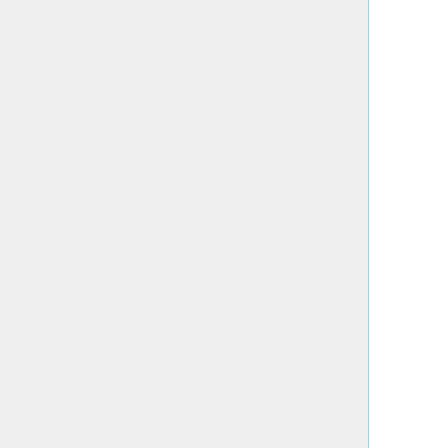fabricated a story to law enforcement that she was blackmailing him in order to avoid coming under scrutiny himself. Steven Heald, a former Delta resident, testified Thursday that, even though he seemingly gave himself a motive in Birgfeld's 2007 disappearance by claiming she was demanding hush money to hide their sexual relationship from Heald's wife, that story was a lie, and he had nothing to do with